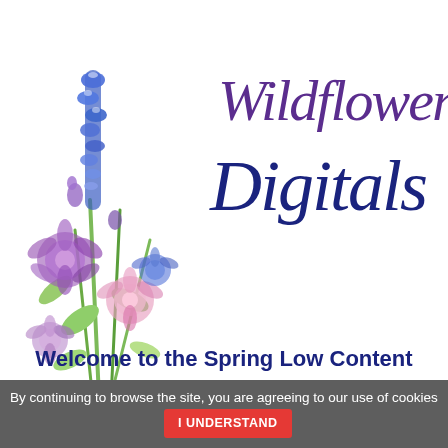[Figure (logo): Wildflower Digitals logo consisting of a watercolor floral illustration (bluebonnets, lavender, purple flowers) on the left and stylized cursive script text reading 'Wildflower Digitals' in purple and dark blue on the right]
[Figure (other): Hamburger menu icon (three horizontal lines) centered below the logo]
Welcome to the Spring Low Content
By continuing to browse the site, you are agreeing to our use of cookies  I UNDERSTAND